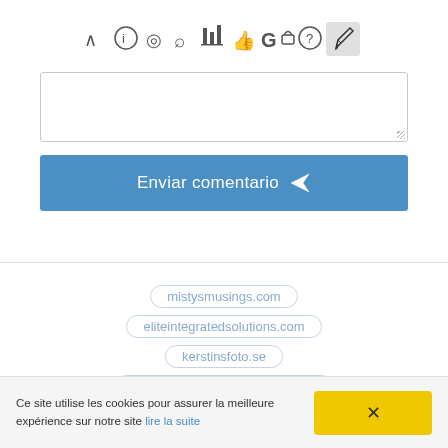[Figure (screenshot): Browser toolbar with icons: chevron up, info, refresh, search, chart/table, thumbs up, G (Google), lock, help/question, pencil (highlighted in gray box)]
[Figure (screenshot): Text input area (comment box) with dotted resize handle in bottom-right corner]
[Figure (screenshot): Blue button labeled 'Enviar comentario' with a paper airplane icon]
mistysmusings.com
eliteintegratedsolutions.com
kerstinsfoto.se
artlover-mittlivibilder.blogspot.se
skvitter.se
ceciliasdag.blogspot.se
narannie.se
Ce site utilise les cookies pour assurer la meilleure expérience sur notre site lire la suite